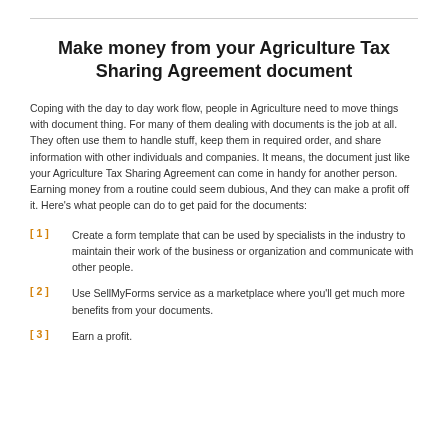Make money from your Agriculture Tax Sharing Agreement document
Coping with the day to day work flow, people in Agriculture need to move things with document thing. For many of them dealing with documents is the job at all. They often use them to handle stuff, keep them in required order, and share information with other individuals and companies. It means, the document just like your Agriculture Tax Sharing Agreement can come in handy for another person. Earning money from a routine could seem dubious, And they can make a profit off it. Here's what people can do to get paid for the documents:
Create a form template that can be used by specialists in the industry to maintain their work of the business or organization and communicate with other people.
Use SellMyForms service as a marketplace where you'll get much more benefits from your documents.
Earn a profit.